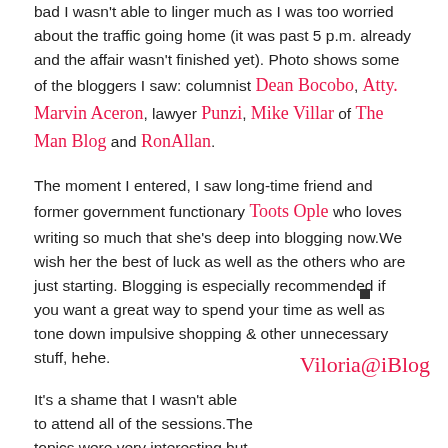bad I wasn't able to linger much as I was too worried about the traffic going home (it was past 5 p.m. already and the affair wasn't finished yet). Photo shows some of the bloggers I saw: columnist Dean Bocobo, Atty. Marvin Aceron, lawyer Punzi, Mike Villar of The Man Blog and RonAllan.
The moment I entered, I saw long-time friend and former government functionary Toots Ople who loves writing so much that she's deep into blogging now.We wish her the best of luck as well as the others who are just starting. Blogging is especially recommended if you want a great way to spend your time as well as tone down impulsive shopping & other unnecessary stuff, hehe.
It's a shame that I wasn't able to attend all of the sessions.The topics were very interesting but were held simultaneously; hence, I needed two bodies or at least an assistant to be able to cover everything *grin. But I simply couldn't miss the talk of Manuel Viloria on podcasting which is one of
[Figure (other): Viloria@iBlog watermark/signature text in cursive red font]